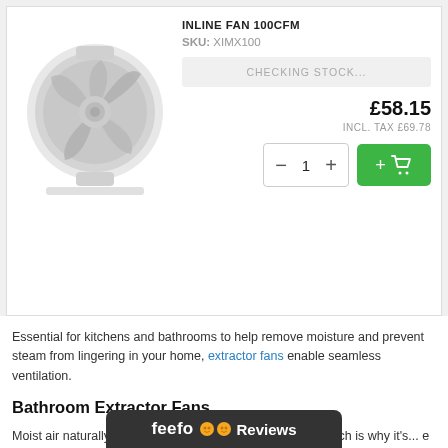[Figure (photo): White inline duct fan (extractor fan) product photo on white background]
Inline Fan 100CFM
SKU: XIMX100
CHECKING STOCK...
£58.15
INCL. TAX £69.78
Essential for kitchens and bathrooms to help remove moisture and prevent steam from lingering in your home, extractor fans enable seamless ventilation.
Bathroom Extractor Fans
Moist air naturally occu... steaming showers and baths, which is why it's... e bathroom
[Figure (other): Feefo Reviews badge/bar in dark background at bottom of page]